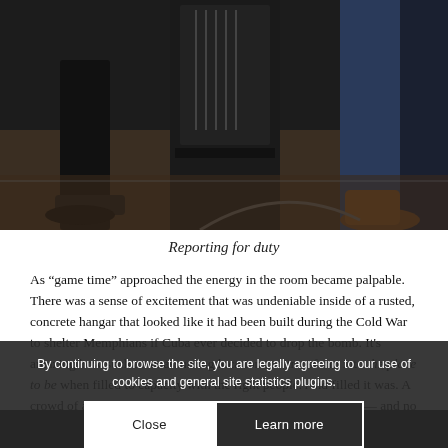[Figure (photo): Dark photograph showing lower bodies/legs of people standing, with floor visible. Dark, moody lighting.]
Reporting for duty
As “game time” approached the energy in the room became palpable. There was a sense of excitement that was undeniable inside of a rusted, concrete hangar that looked like it had been built during the Cold War to shelter Memphians if Cuba ever decided to drop the bomb. It’s amazing how such an unassuming location can transform into the place to be when filled to capacity with the right people. And filled it was. A crowd of at least 10,000 packed inside a space with no chairs — and no complaints.
By continuing to browse the site, you are legally agreeing to our use of cookies and general site statistics plugins.
Close
Learn more